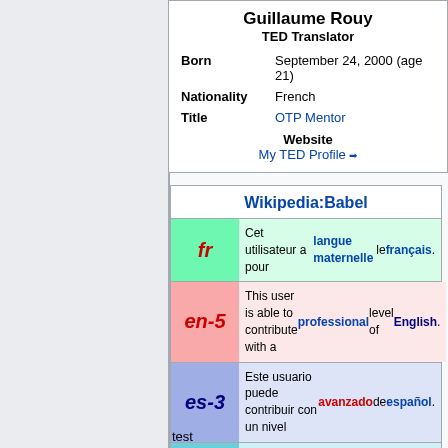| Born | September 24, 2000 (age 21) |
| Nationality | French |
| Title | OTP Mentor |
| Website | My TED Profile |
| Wikipedia:Babel |
| --- |
| fr | Cet utilisateur a pour langue maternelle le français. |
| en-5 | This user is able to contribute with a professional level of English. |
| es-3 | Este usuario puede contribuir con un nivel avanzado de español. |
| la-2 | Hic usor media latinitate contribuere potest. |
| Search user languages |  |
test